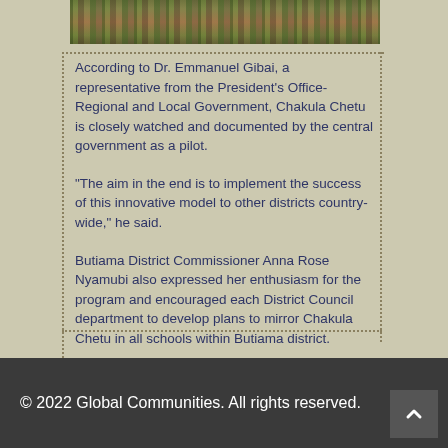[Figure (photo): Cropped photo of people, partially visible at the top of the page]
According to Dr. Emmanuel Gibai, a representative from the President's Office-Regional and Local Government, Chakula Chetu is closely watched and documented by the central government as a pilot.
"The aim in the end is to implement the success of this innovative model to other districts country-wide," he said.
Butiama District Commissioner Anna Rose Nyamubi also expressed her enthusiasm for the program and encouraged each District Council department to develop plans to mirror Chakula Chetu in all schools within Butiama district.
© 2022 Global Communities. All rights reserved.